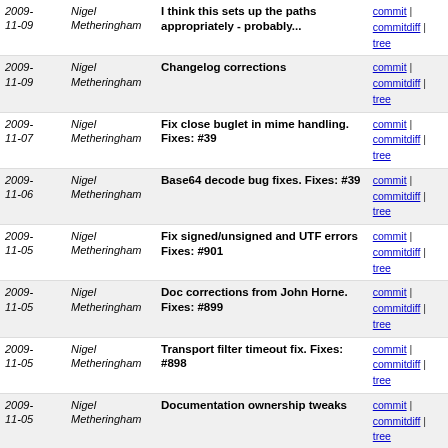| Date | Author | Message | Links |
| --- | --- | --- | --- |
| 2009-11-09 | Nigel Metheringham | I think this sets up the paths appropriately - probably... | commit | commitdiff | tree |
| 2009-11-09 | Nigel Metheringham | Changelog corrections | commit | commitdiff | tree |
| 2009-11-07 | Nigel Metheringham | Fix close buglet in mime handling. Fixes: #39 | commit | commitdiff | tree |
| 2009-11-06 | Nigel Metheringham | Base64 decode bug fixes. Fixes: #39 | commit | commitdiff | tree |
| 2009-11-05 | Nigel Metheringham | Fix signed/unsigned and UTF errors Fixes: #901 | commit | commitdiff | tree |
| 2009-11-05 | Nigel Metheringham | Doc corrections from John Horne. Fixes: #899 | commit | commitdiff | tree |
| 2009-11-05 | Nigel Metheringham | Transport filter timeout fix. Fixes: #898 | commit | commitdiff | tree |
| 2009-11-05 | Nigel Metheringham | Documentation ownership tweaks | commit | commitdiff | tree |
| 2009-10-30 | Nigel Metheringham | Change "expr" to "expr --" in all shell scripts. Fixes... | commit | commitdiff | tree |
| 2009-10-30 | Nigel Metheringham | Further fix to maildirsize. Fixes: #727 | commit | commitdiff | tree |
| 2009-10-27 | Nigel Metheringham | Documentation: Added changebars, fixed date | commit | commitdiff | tree |
| 2009-10-26 | Nigel Metheringham | Dovecot buffer overrun fix. Fixes: #868, Related:... | commit | commitdiff | tree |
| 2009-10-26 | Nigel Metheringham | Dovecot buffer overrun fix. Fixes: #889 | commit | commitdiff | tree |
| 2009- | Nigel | TLS documentation bugfixes | commit | |